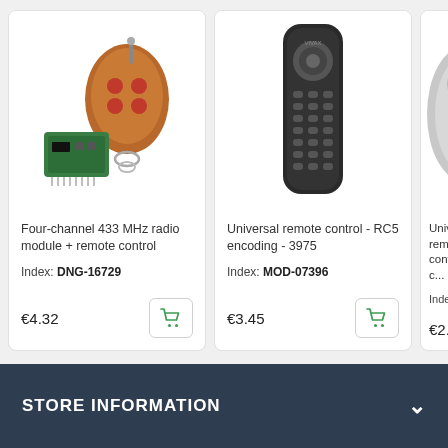[Figure (photo): Four-channel 433 MHz radio module with remote control keyfob (brown/orange housing with red buttons) and green circuit board receiver]
Four-channel 433 MHz radio module + remote control
Index: DNG-16729
€4.32
[Figure (photo): Universal TV-style black remote control unit, elongated shape with many buttons and circular navigation ring]
Universal remote control - RC5 encoding - 3975
Index: MOD-07396
€3.45
[Figure (photo): Partial view of another universal remote control product (cropped at right edge)]
Universal remote control fixed c...
Index: ...
€2.80
STORE INFORMATION